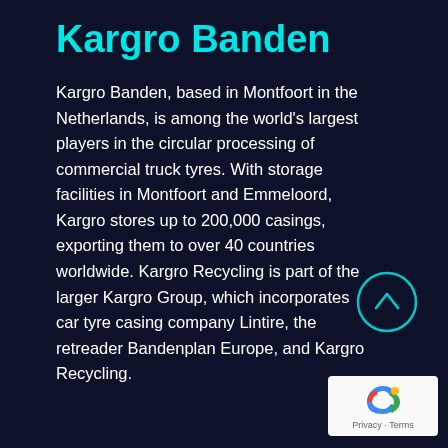Kargro Banden
Kargro Banden, based in Montfoort in the Netherlands, is among the world's largest players in the circular processing of commercial truck tyres. With storage facilities in Montfoort and Emmeloord, Kargro stores up to 200,000 casings, exporting them to over 40 countries worldwide. Kargro Recycling is part of the larger Kargro Group, which incorporates car tyre casing company Lintire, the retreader Bandenplan Europe, and Kargro Recycling.
[Figure (other): Circular up-arrow navigation button with cyan border on dark background]
[Figure (other): Google reCAPTCHA badge with logo and Privacy · Terms text]